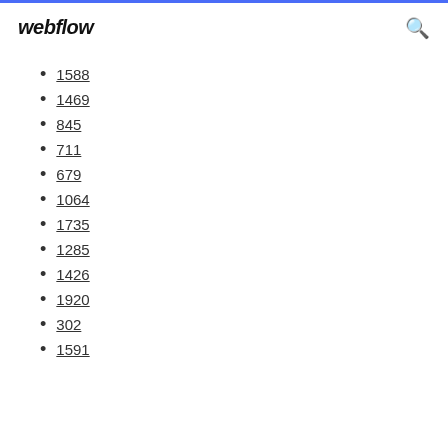webflow
1588
1469
845
711
679
1064
1735
1285
1426
1920
302
1591